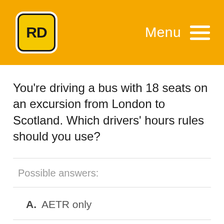[Figure (logo): RD logo: yellow rounded square with black border containing bold RD letters, on orange header background]
Menu
You're driving a bus with 18 seats on an excursion from London to Scotland. Which drivers' hours rules should you use?
Possible answers:
A. AETR only
B. Domestic